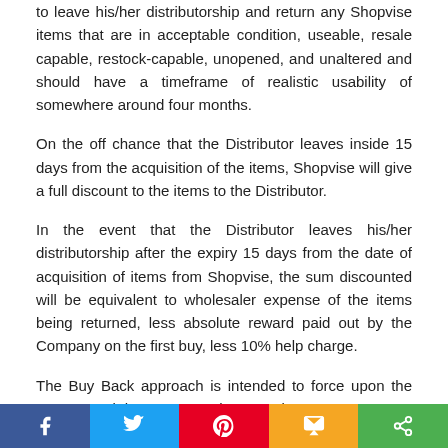to leave his/her distributorship and return any Shopvise items that are in acceptable condition, useable, resale capable, restock-capable, unopened, and unaltered and should have a timeframe of realistic usability of somewhere around four months.
On the off chance that the Distributor leaves inside 15 days from the acquisition of the items, Shopvise will give a full discount to the items to the Distributor.
In the event that the Distributor leaves his/her distributorship after the expiry 15 days from the date of acquisition of items from Shopvise, the sum discounted will be equivalent to wholesaler expense of the items being returned, less absolute reward paid out by the Company on the first buy, less 10% help charge.
The Buy Back approach is intended to force upon the support and the Company the commitment to guarantee that the wholesaler is purchasing items admirably.
Abrogation
For Cancellation of affirmed/put request if it's not too much trouble,
[Figure (other): Social media share bar with Facebook, Twitter, Pinterest, SMS, and Share buttons]